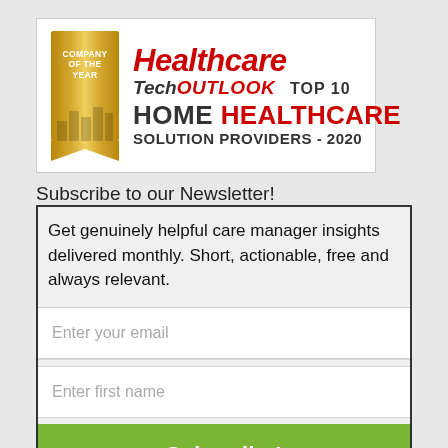[Figure (logo): Healthcare Tech Outlook Top 10 Home Healthcare Solution Providers 2020 award logo with gold ribbon 'Company of the Year' badge]
Subscribe to our Newsletter!
Get genuinely helpful care manager insights delivered monthly. Short, actionable, free and always relevant.
Enter your email
Enter first name
Subscribe!
powered by MailMunch